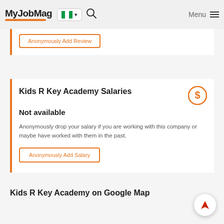MyJobMag
Anonymously Add Review
Kids R Key Academy Salaries
Not available
Anonymously drop your salary if you are working with this company or maybe have worked with them in the past.
Anonymously Add Salary
Kids R Key Academy on Google Map